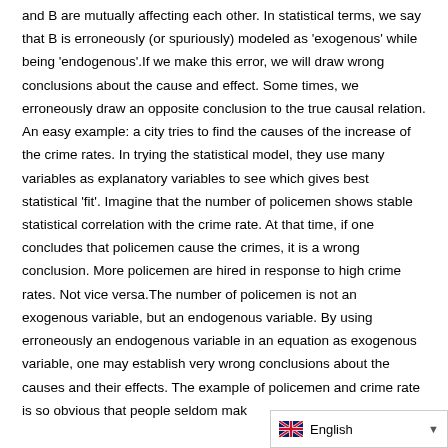and B are mutually affecting each other. In statistical terms, we say that B is erroneously (or spuriously) modeled as 'exogenous' while being 'endogenous'.If we make this error, we will draw wrong conclusions about the cause and effect. Some times, we erroneously draw an opposite conclusion to the true causal relation. An easy example: a city tries to find the causes of the increase of the crime rates. In trying the statistical model, they use many variables as explanatory variables to see which gives best statistical 'fit'. Imagine that the number of policemen shows stable statistical correlation with the crime rate. At that time, if one concludes that policemen cause the crimes, it is a wrong conclusion. More policemen are hired in response to high crime rates. Not vice versa.The number of policemen is not an exogenous variable, but an endogenous variable. By using erroneously an endogenous variable in an equation as exogenous variable, one may establish very wrong conclusions about the causes and their effects. The example of policemen and crime rate is so obvious that people seldom make